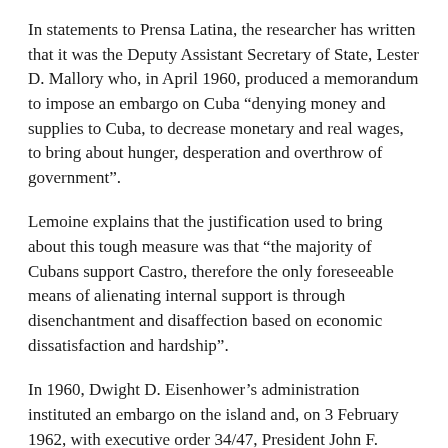In statements to Prensa Latina, the researcher has written that it was the Deputy Assistant Secretary of State, Lester D. Mallory who, in April 1960, produced a memorandum to impose an embargo on Cuba “denying money and supplies to Cuba, to decrease monetary and real wages, to bring about hunger, desperation and overthrow of government”.
Lemoine explains that the justification used to bring about this tough measure was that “the majority of Cubans support Castro, therefore the only foreseeable means of alienating internal support is through disenchantment and disaffection based on economic dissatisfaction and hardship”.
In 1960, Dwight D. Eisenhower’s administration instituted an embargo on the island and, on 3 February 1962, with executive order 34/47, President John F. Kennedy decreed a total blockade on Cuba.